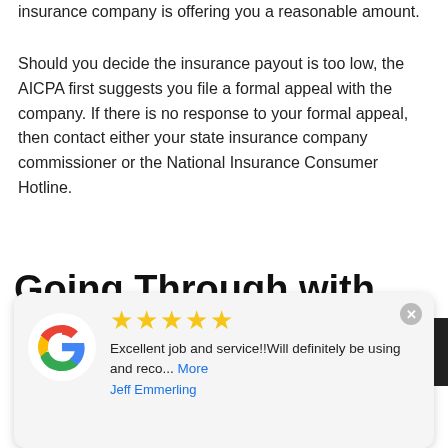insurance company is offering you a reasonable amount.
Should you decide the insurance payout is too low, the AICPA first suggests you file a formal appeal with the company. If there is no response to your formal appeal, then contact either your state insurance company commissioner or the National Insurance Consumer Hotline.
Going Through with the Claim
If you decide to have your roof inspected before filing an insurance claim, you want to do it as soon as po...
[Figure (screenshot): Google review widget showing 5 stars, review text 'Excellent job and service!!Will definitely be using and reco... More' by Jeff Emmerling, with Google logo and close button]